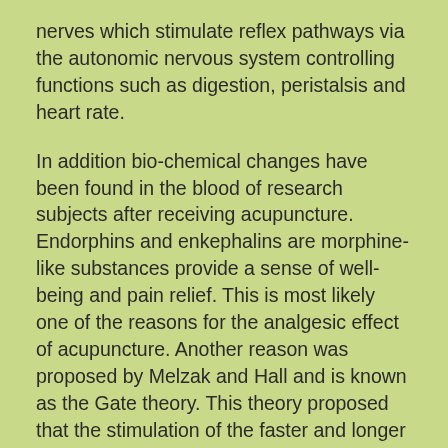nerves which stimulate reflex pathways via the autonomic nervous system controlling functions such as digestion, peristalsis and heart rate.
In addition bio-chemical changes have been found in the blood of research subjects after receiving acupuncture. Endorphins and enkephalins are morphine-like substances provide a sense of well-being and pain relief. This is most likely one of the reasons for the analgesic effect of acupuncture. Another reason was proposed by Melzak and Hall and is known as the Gate theory. This theory proposed that the stimulation of the faster and longer nerve fibers block the pain stimulus of the smaller and slower nerve fibers traveling up the spinal cord.
Acupuncture has a balancing effect on many bodily functions helping the body to return to a state of homeostasis thus needling certain points can decrease hyperacidity while other points can increase the acidity